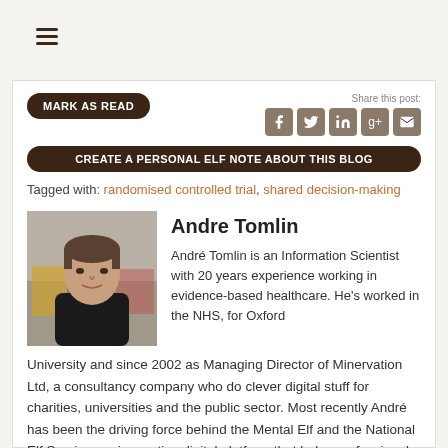[Figure (other): Hamburger menu icon (three horizontal lines)]
[Figure (other): MARK AS READ button (brown pill-shaped button)]
[Figure (other): Share this post social icons: Facebook, Twitter, LinkedIn, Google+, Email]
[Figure (other): CREATE A PERSONAL ELF NOTE ABOUT THIS BLOG button (brown pill-shaped button)]
Tagged with: randomised controlled trial, shared decision-making
[Figure (photo): Headshot photo of Andre Tomlin, a middle-aged man in a black shirt]
Andre Tomlin
André Tomlin is an Information Scientist with 20 years experience working in evidence-based healthcare. He's worked in the NHS, for Oxford University and since 2002 as Managing Director of Minervation Ltd, a consultancy company who do clever digital stuff for charities, universities and the public sector. Most recently André has been the driving force behind the Mental Elf and the National Elf Service; an innovative digital platform that helps professionals keep up to date with simple, clear and engaging summaries of evidence-based research. André is a Trustee at the Centre for Mental Health and an Honorary